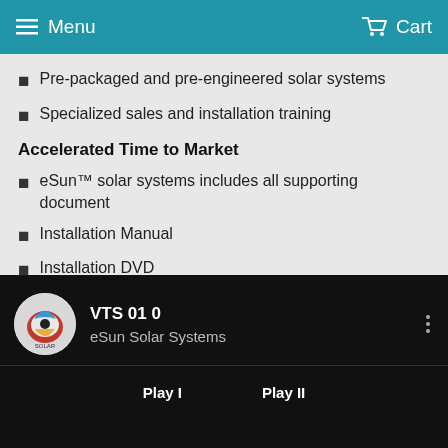Menu   Cart
Pre-packaged and pre-engineered solar systems
Specialized sales and installation training
Accelerated Time to Market
eSun™ solar systems includes all supporting document
Installation Manual
Installation DVD
Engineered drawings
Permitting documents for building department
NEC compliant in all 50 states
[Figure (screenshot): Video player showing 'VTS 01 0  eSun Solar Systems' with a logo, three-dot menu, Play I and Play II buttons on a black background]